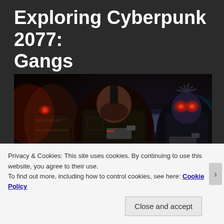Exploring Cyberpunk 2077: Gangs
[Figure (screenshot): Cyberpunk 2077 in-game screenshot showing three armored gang members in a dark neon-lit environment. The central figure faces upward, flanked by two others with glowing red cybernetic eyes.]
During the recession of 2020 gangs rose up and took over sections of Night City, some locations have been outright
Privacy & Cookies: This site uses cookies. By continuing to use this website, you agree to their use.
To find out more, including how to control cookies, see here: Cookie Policy
Close and accept